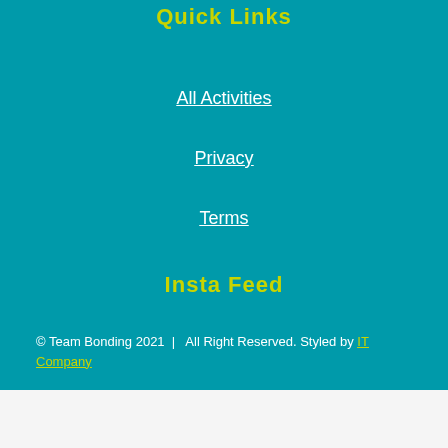Quick Links
All Activities
Privacy
Terms
Insta Feed
© Team Bonding 2021  |  All Right Reserved. Styled by IT Company